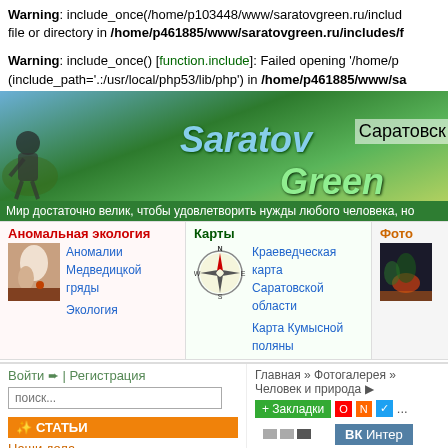Warning: include_once(/home/p103448/www/saratovgreen.ru/includ... file or directory in /home/p461885/www/saratovgreen.ru/includes/f...
Warning: include_once() [function.include]: Failed opening '/home/p... (include_path='.:/usr/local/php53/lib/php') in /home/p461885/www/sa...
[Figure (screenshot): Saratov Green website banner with green hills background, 'Saratov Green' logo text in blue/green, 'Саратовск' label, and tagline in Russian]
Аномальная экология | Карты | Фото
[Figure (screenshot): Navigation section with anomalous ecology links (Аномалии Медведицкой гряды, Экология), maps section with compass rose and links (Краеведческая карта Саратовской области, Карта Кумысной поляны), and photo section]
Войти ➨ | Регистрация
поиск...
Главная » Фотогалерея » Человек и природа »
+ Закладки
СТАТЬИ
Наши дела
Кумысная Поляна
Фотогалерея Саратовс...